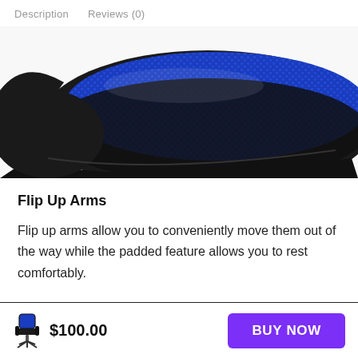Description   Reviews (0)
[Figure (photo): Close-up photo of a gaming chair armrest with blue mesh fabric padding and black frame]
Flip Up Arms
Flip up arms allow you to conveniently move them out of the way while the padded feature allows you to rest comfortably.
$100.00   BUY NOW